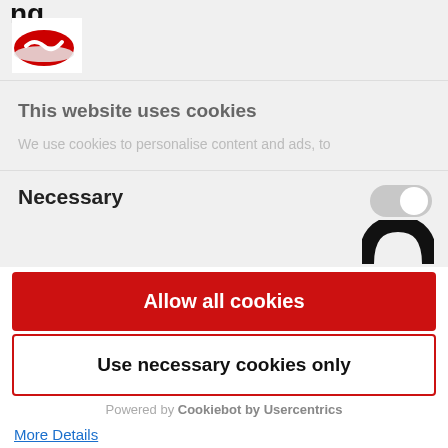[Figure (logo): Red oval logo with white checkmark, partially visible at top]
This website uses cookies
We use cookies to personalise content and ads, to
Necessary
[Figure (other): Toggle switch in off/grey position]
[Figure (other): Black rounded arc/hat shape partially visible]
Allow all cookies
Use necessary cookies only
Powered by Cookiebot by Usercentrics
More Details